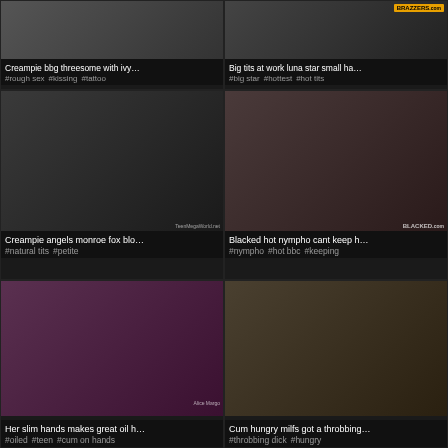[Figure (photo): Thumbnail image top left]
Creampie bbg threesome with ivy…
#rough sex  #kissing  #tattoo
[Figure (photo): Thumbnail image top right with Brazzers logo]
Big tits at work luna star small ha…
#big star  #hottest  #hot tits
[Figure (photo): Thumbnail image middle left with TeenMegaWorld watermark]
Creampie angels monroe fox blo…
#natural tits  #petite
[Figure (photo): Thumbnail image middle right with Blacked.com watermark]
Blacked hot nympho cant keep h…
#nympho  #hot bbc  #keeping
[Figure (photo): Thumbnail image bottom left with Alice Margo watermark]
Her slim hands makes great oil h…
#oiled  #teen  #cum on hands
[Figure (photo): Thumbnail image bottom right]
Cum hungry milfs got a throbbing…
#throbbing dick  #hungry